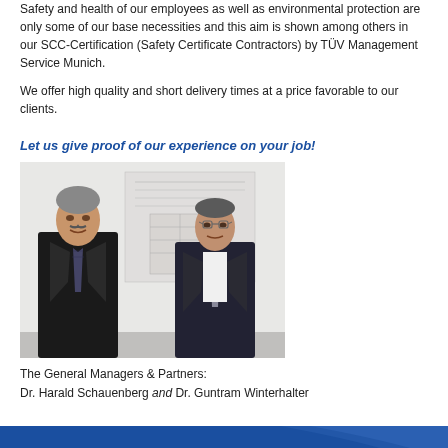Safety and health of our employees as well as environmental protection are only some of our base necessities and this aim is shown among others in our SCC-Certification (Safety Certificate Contractors) by TÜV Management Service Munich.
We offer high quality and short delivery times at a price favorable to our clients.
Let us give proof of our experience on your job!
[Figure (photo): Two men in dark business suits standing side by side, smiling, in front of a light background with what appears to be a sketch or drawing.]
The General Managers & Partners:
Dr. Harald Schauenberg and Dr. Guntram Winterhalter